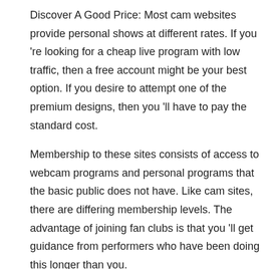Discover A Good Price: Most cam websites provide personal shows at different rates. If you 're looking for a cheap live program with low traffic, then a free account might be your best option. If you desire to attempt one of the premium designs, then you 'll have to pay the standard cost.
Membership to these sites consists of access to webcam programs and personal programs that the basic public does not have. Like cam sites, there are differing membership levels. The advantage of joining fan clubs is that you 'll get guidance from performers who have been doing this longer than you.
Discover A Reputable Dealer: Purchasing sex cameras online doesn 't require much research. Some of them will supply more details about the performance of their items, while others will use reviews. Make sure to research study reliable companies.
CAM4 offers the world 's greatest free live sex videos. Numerous